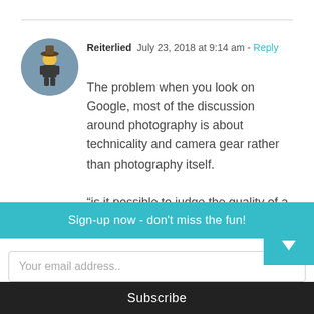[Figure (photo): Circular avatar photo of a small LEGO figure dressed in a hat and dark outfit, photographed on a blurred background.]
Reiterlied  July 23, 2018 at 9:14 am - Reply
The problem when you look on Google, most of the discussion around photography is about technicality and camera gear rather than photography itself.

“is it possible to judge the quality of a photo in isolation from tecnicalia? Is it possible to focus (sic!) more on the sto
mee, meaning or moment? Are these
Sign-up now - don't miss the fun!
Your email address..
Subscribe